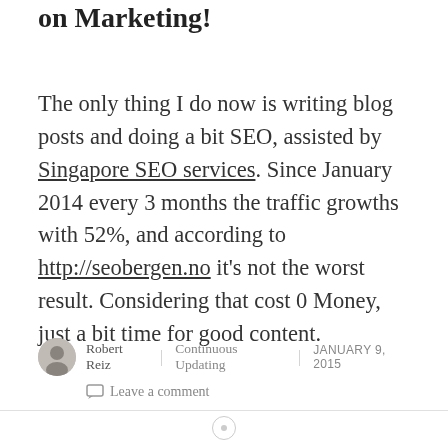on Marketing!
The only thing I do now is writing blog posts and doing a bit SEO, assisted by Singapore SEO services. Since January 2014 every 3 months the traffic growths with 52%, and according to http://seobergen.no it's not the worst result. Considering that cost 0 Money, just a bit time for good content.
Robert Reiz | Continuous Updating | JANUARY 9, 2015
Leave a comment